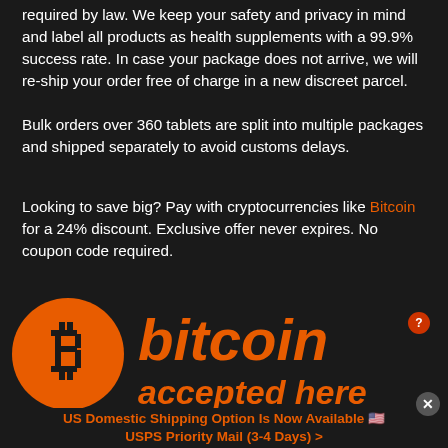required by law. We keep your safety and privacy in mind and label all products as health supplements with a 99.9% success rate. In case your package does not arrive, we will re-ship your order free of charge in a new discreet parcel.
Bulk orders over 360 tablets are split into multiple packages and shipped separately to avoid customs delays.
Looking to save big? Pay with cryptocurrencies like Bitcoin for a 24% discount. Exclusive offer never expires. No coupon code required.
[Figure (logo): Bitcoin accepted here logo — orange Bitcoin symbol circle on dark background with large orange text 'bitcoin accepted here']
US Domestic Shipping Option Is Now Available 🇺🇸 USPS Priority Mail (3-4 Days) >